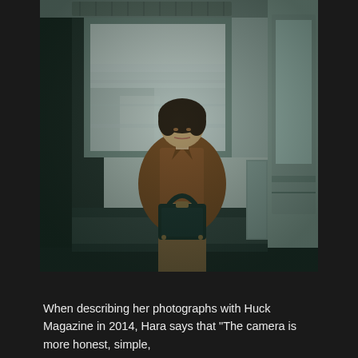[Figure (photo): A woman with short dark hair wearing a brown jacket sits alone in a train car, looking down at a dark green structured handbag she holds on her lap. The train interior has teal/green colored walls and a large window behind her showing a blurred cityscape passing by. The overall photo has a desaturated, film-like quality with cool green tones.]
When describing her photographs with Huck Magazine in 2014, Hara says that "The camera is more honest, simple,